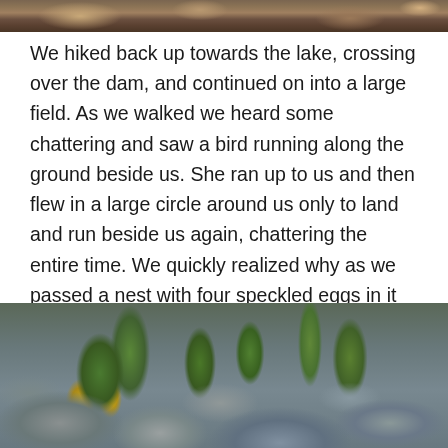[Figure (photo): Partial photo of rocky terrain, showing the bottom edge of an outdoor nature photograph]
We hiked back up towards the lake, crossing over the dam, and continued on into a large field. As we walked we heard some chattering and saw a bird running along the ground beside us. She ran up to us and then flew in a large circle around us only to land and run beside us again, chattering the entire time. We quickly realized why as we passed a nest with four speckled eggs in it just a foot off the path we were walking along. “Don’t worry, your babies are safe,” we told her as we quickly moved along.
[Figure (photo): Close-up photo of rocks on the ground with green plants and yellow flowers growing among them]